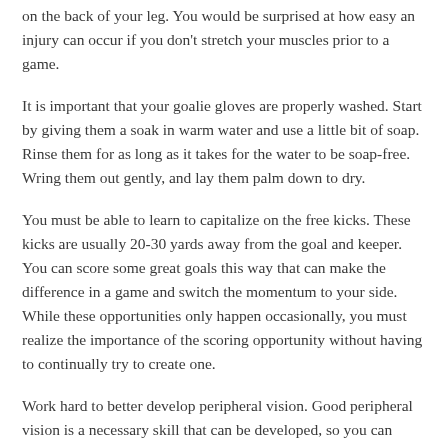on the back of your leg. You would be surprised at how easy an injury can occur if you don't stretch your muscles prior to a game.
It is important that your goalie gloves are properly washed. Start by giving them a soak in warm water and use a little bit of soap. Rinse them for as long as it takes for the water to be soap-free. Wring them out gently, and lay them palm down to dry.
You must be able to learn to capitalize on the free kicks. These kicks are usually 20-30 yards away from the goal and keeper. You can score some great goals this way that can make the difference in a game and switch the momentum to your side. While these opportunities only happen occasionally, you must realize the importance of the scoring opportunity without having to continually try to create one.
Work hard to better develop peripheral vision. Good peripheral vision is a necessary skill that can be developed, so you can focus on the ball and still watch the entire field. This will allow you to see the ball when it is not directly in front of you.
Know what foods to eat before and after you play. Try to avoid eating immediately before a game, and instead try to have a nutritious meal